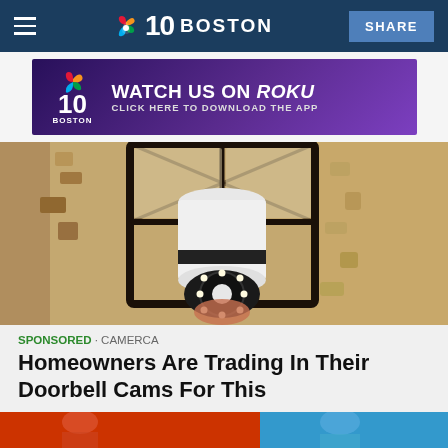NBC10 BOSTON — SHARE
[Figure (advertisement): NBC10 Boston ad banner: 'WATCH US ON Roku — CLICK HERE TO DOWNLOAD THE APP']
[Figure (photo): A person installing a light bulb security camera into an outdoor wall lantern fixture. The bulb-shaped camera has a circular lens with LED lights at the bottom.]
SPONSORED · CAMERCA
Homeowners Are Trading In Their Doorbell Cams For This
[Figure (photo): Bottom teaser strip showing partial image with red and blue background colors.]